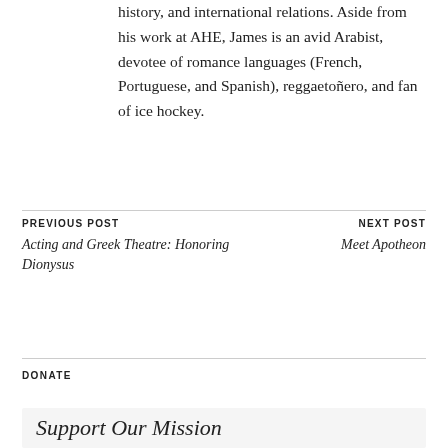history, and international relations. Aside from his work at AHE, James is an avid Arabist, devotee of romance languages (French, Portuguese, and Spanish), reggaetoñero, and fan of ice hockey.
PREVIOUS POST
Acting and Greek Theatre: Honoring Dionysus
NEXT POST
Meet Apotheon
DONATE
Support Our Mission